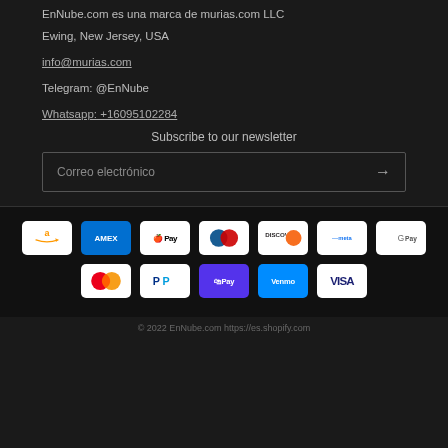EnNube.com es una marca de murias.com LLC
Ewing, New Jersey, USA
info@murias.com
Telegram: @EnNube
Whatsapp: +16095102284
Subscribe to our newsletter
Correo electrónico
[Figure (other): Payment method icons: Amazon, American Express, Apple Pay, Diners Club, Discover, Meta Pay, Google Pay, Mastercard, PayPal, Shop Pay, Venmo, Visa]
© 2022  EnNube.com  https://es.shopify.com